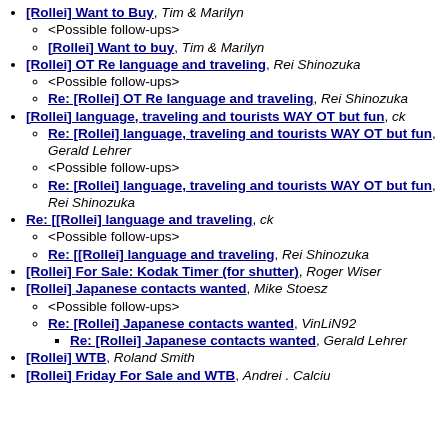[Rollei] Want to Buy, Tim & Marilyn
<Possible follow-ups>
[Rollei] Want to buy, Tim & Marilyn
[Rollei] OT Re language and traveling, Rei Shinozuka
<Possible follow-ups>
Re: [Rollei] OT Re language and traveling, Rei Shinozuka
[Rollei] language, traveling and tourists WAY OT but fun, ck
Re: [Rollei] language, traveling and tourists WAY OT but fun, Gerald Lehrer
<Possible follow-ups>
Re: [Rollei] language, traveling and tourists WAY OT but fun, Rei Shinozuka
Re: [[Rollei] language and traveling, ck
<Possible follow-ups>
Re: [[Rollei] language and traveling, Rei Shinozuka
[Rollei] For Sale: Kodak Timer (for shutter), Roger Wiser
[Rollei] Japanese contacts wanted, Mike Stoesz
<Possible follow-ups>
Re: [Rollei] Japanese contacts wanted, VinLiN92
Re: [Rollei] Japanese contacts wanted, Gerald Lehrer
[Rollei] WTB, Roland Smith
[Rollei] Friday For Sale and WTB, Andrei . Calciu